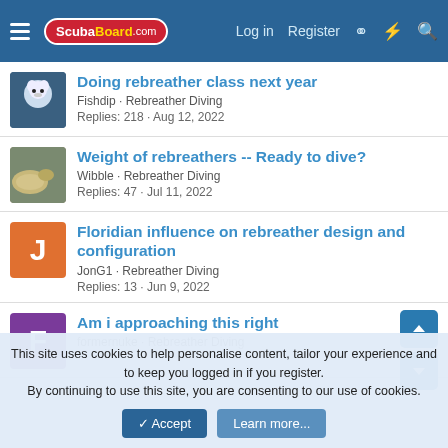ScubaBoard.com — Log in | Register
Doing rebreather class next year — Fishdip · Rebreather Diving — Replies: 218 · Aug 12, 2022
Weight of rebreathers -- Ready to dive? — Wibble · Rebreather Diving — Replies: 47 · Jul 11, 2022
Floridian influence on rebreather design and configuration — JonG1 · Rebreather Diving — Replies: 13 · Jun 9, 2022
Am i approaching this right — formernuke · Rebreather Diving
This site uses cookies to help personalise content, tailor your experience and to keep you logged in if you register. By continuing to use this site, you are consenting to our use of cookies.